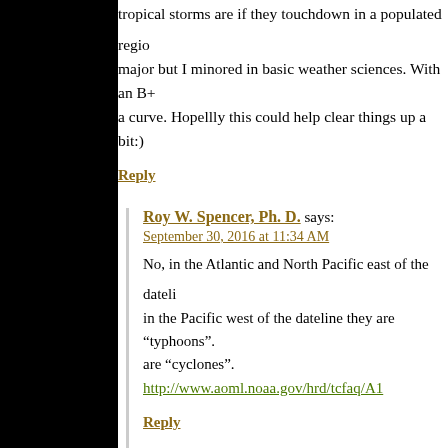tropical storms are if they touchdown in a populated region. [I'm not a] major but I minored in basic weather sciences. With an B+ [and] a curve. Hopellly this could help clear things up a bit:)
Reply
Roy W. Spencer, Ph. D. says:
September 30, 2016 at 11:34 AM
No, in the Atlantic and North Pacific east of the dateline [they are "hurricanes"]; in the Pacific west of the dateline they are "typhoons". [In the Indian Ocean they] are "cyclones". http://www.aoml.noaa.gov/hrd/tcfaq/A1
Reply
RAH says:
September 30, 2016 at 1:39 PM
And just to confuse Arnold more the term "Tropical [Storm" is a generic] name type for any of the above named storms no m[atter where] they originate in.